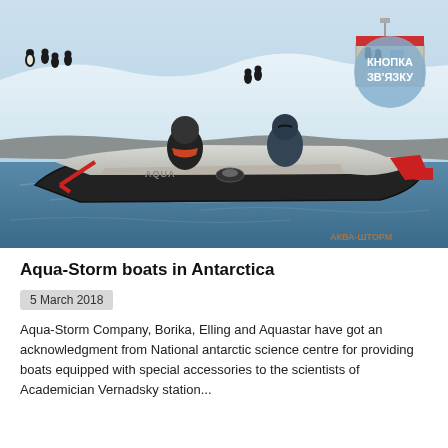[Figure (photo): Two people riding an inflatable Aqua-Storm boat on water in Antarctica, with snow-covered landscape, penguins, and a research station building in the background. A blue circular button with Cyrillic text 'КНОПКА ЗВ'ЯЗКУ' is overlaid on the top right of the image.]
Aqua-Storm boats in Antarctica
5 March 2018
Aqua-Storm Company, Borika, Elling and Aquastar have got an acknowledgment from National antarctic science centre for providing boats equipped with special accessories to the scientists of Academician Vernadsky station...